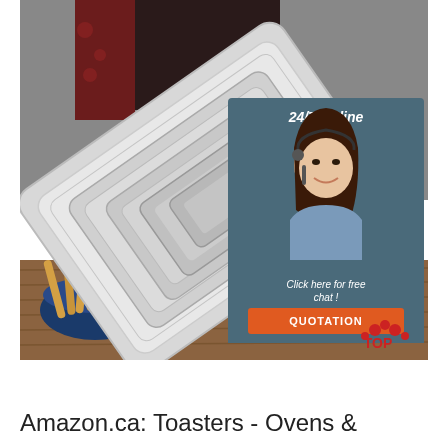[Figure (photo): Stainless steel baking/food service trays of various sizes nested together, held by person in dark apron. Background shows breadsticks in a bowl on wooden surface. Overlay widget in upper right showing '24/7 Online' customer service agent with headset, 'Click here for free chat!' and orange 'QUOTATION' button. Red and white 'TOP' logo in lower right corner.]
Amazon.ca: Toasters - Ovens &